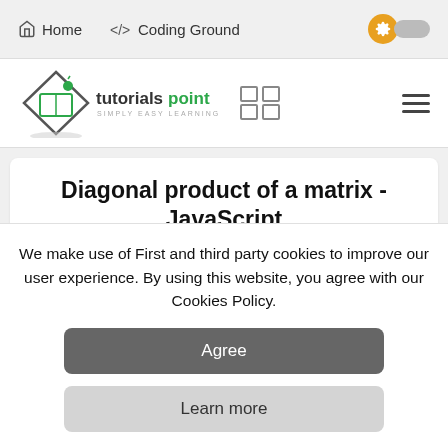Home  </>  Coding Ground
[Figure (logo): Tutorialspoint logo with diamond book icon and text 'tutorialspoint SIMPLY EASY LEARNING', plus grid icon and hamburger menu]
Diagonal product of a matrix - JavaScript
Javascript
Web Development
Front End Technology
Object Oriented Programming
We make use of First and third party cookies to improve our user experience. By using this website, you agree with our Cookies Policy.
Agree
Learn more